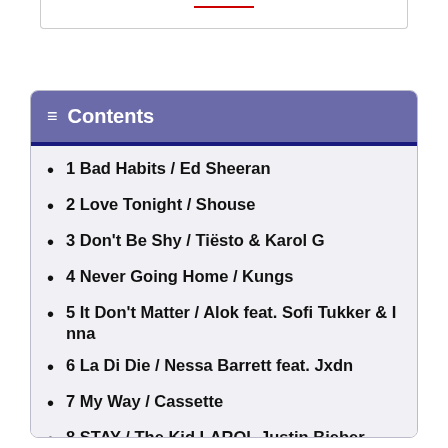Contents
1 Bad Habits / Ed Sheeran
2 Love Tonight / Shouse
3 Don't Be Shy / Tiësto & Karol G
4 Never Going Home / Kungs
5 It Don't Matter / Alok feat. Sofi Tukker & Inna
6 La Di Die / Nessa Barrett feat. Jxdn
7 My Way / Cassette
8 STAY / The Kid LAROI, Justin Bieber